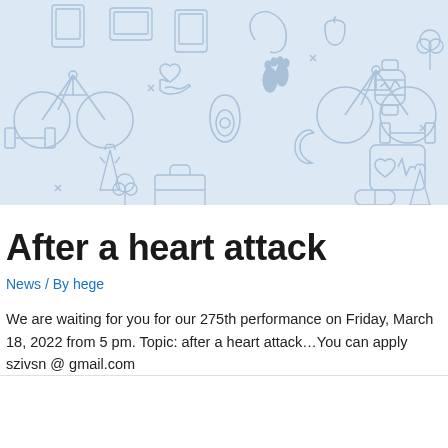[Figure (illustration): Light blue banner background with health and fitness line icons including bicycles, hearts, dumbbells, footprints, fruits, vegetables, avocado, moon, carrots, broccoli, fitness tracker, and other wellness symbols drawn in a light blue outline style on a pale blue background.]
After a heart attack
News / By hege
We are waiting for you for our 275th performance on Friday, March 18, 2022 from 5 pm. Topic: after a heart attack…You can apply szivsn @ gmail.com